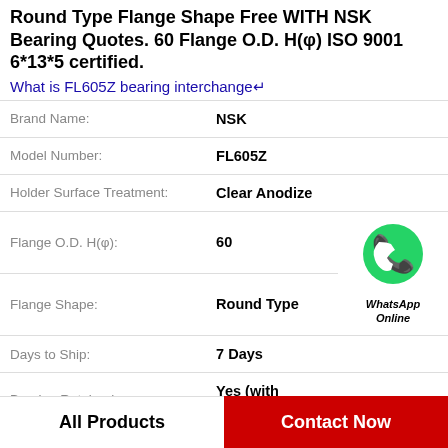Round Type Flange Shape Free WITH NSK Bearing Quotes. 60 Flange O.D. H(φ) ISO 9001 6*13*5 certified.
What is FL605Z bearing interchange
| Attribute | Value |
| --- | --- |
| Brand Name: | NSK |
| Model Number: | FL605Z |
| Holder Surface Treatment: | Clear Anodize |
| Flange O.D. H(φ): | 60 |
| Flange Shape: | Round Type |
| Days to Ship: | 7 Days |
| Bearing Retained: | Yes (with retaining |
| Bearing Part Number: | 6903 |
All Products | Contact Now